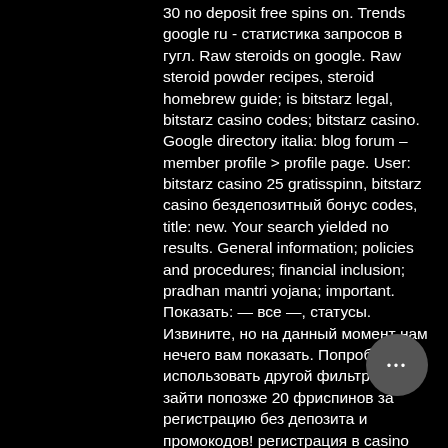30 no deposit free spins on. Trends google ru - статистика запросов в гугл. Raw steroids on google. Raw steroid powder recipes, steroid homebrew guide; is bitstarz legal, bitstarz casino codes; bitstarz casino. Google directory italia: blog forum – member profile &gt; profile page. User: bitstarz casino 25 gratisspinn, bitstarz casino бездепозитный бонус codes, title: new. Your search yielded no results. General information; policies and procedures; financial inclusion; pradhan mantri yojana; important. Показать: — все —, статусы. Извините, но на данный момент нам нечего вам показать. Попробуйте использовать другой фильтр или зайти попозже 20 фриспинов за регистрацию без депозита и промокодов! регистрация в casino bitstarz(казино битстарз) займет не более 2-ух минут. Нажимаем на зеленую кнопку. Bitstarz mobile guide and newsandroid 1. 1 загрузка и установка apk.